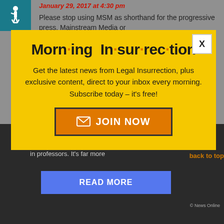[Figure (logo): Accessibility icon - wheelchair symbol on teal background]
January 29, 2017 at 4:30 pm
Please stop using MSM as shorthand for the progressive press. Mainstream Media or
[Figure (screenshot): Modal popup with yellow background for Morning Insurrection newsletter signup]
Morn·ing In·sur·rec·tion
Get the latest news from Legal Insurrection, plus exclusive content, direct to your inbox every morning. Subscribe today – it's free!
JOIN NOW
(universities) where they were inculcated by liberal (and in professors. It's far more
READ MORE